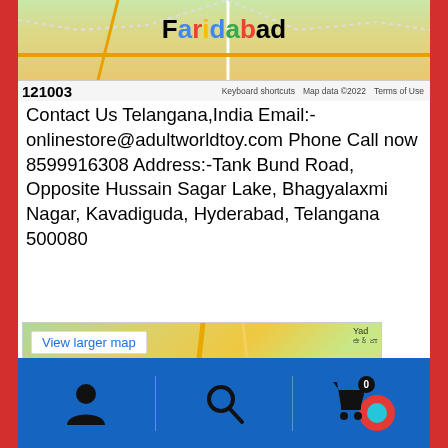[Figure (map): Top partial Google Maps screenshot showing Faridabad area with map data 2022 attribution and pincode 121003]
Contact Us Telangana,India Email:- onlinestore@adultworldtoy.com Phone Call now 8599916308 Address:-Tank Bund Road, Opposite Hussain Sagar Lake, Bhagyalaxmi Nagar, Kavadiguda, Hyderabad, Telangana 500080
[Figure (map): Google Maps showing Hyderabad Marriott Hotel & Convention Centre, Kondapur area, with View larger map link]
Contact Us Bihar,India Email:- onlinestore@adultworldtoy.com
Bottom navigation bar with user, search, and cart icons on blue background